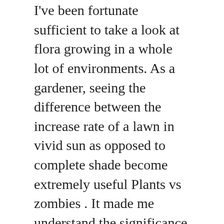I've been fortunate sufficient to take a look at flora growing in a whole lot of environments. As a gardener, seeing the difference between the increase rate of a lawn in vivid sun as opposed to complete shade become extremely useful Plants vs zombies . It made me understand the significance of daylight publicity and … Read more
Plants
Arugula, Bamboo, Parlor Palm, Spider Plant, Toad Lily, Top 20 indoor outdoor plants
'Candy': Hulu's True Crime Drama Is Bittersweet at